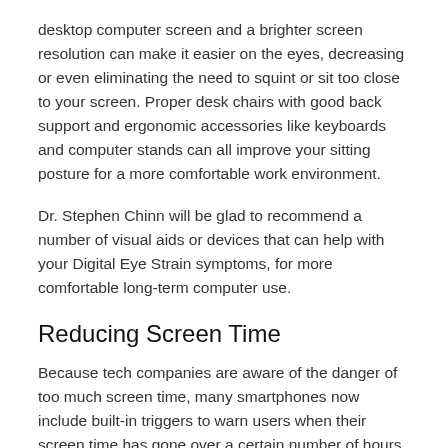desktop computer screen and a brighter screen resolution can make it easier on the eyes, decreasing or even eliminating the need to squint or sit too close to your screen. Proper desk chairs with good back support and ergonomic accessories like keyboards and computer stands can all improve your sitting posture for a more comfortable work environment.
Dr. Stephen Chinn will be glad to recommend a number of visual aids or devices that can help with your Digital Eye Strain symptoms, for more comfortable long-term computer use.
Reducing Screen Time
Because tech companies are aware of the danger of too much screen time, many smartphones now include built-in triggers to warn users when their screen time has gone over a certain number of hours.